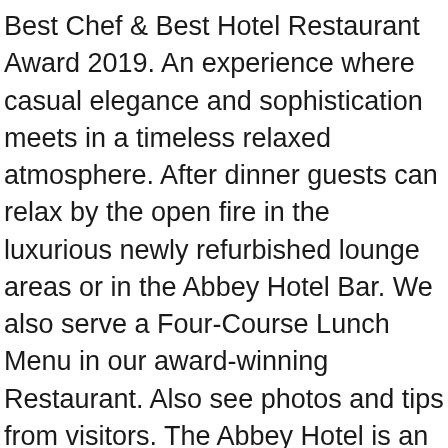Best Chef & Best Hotel Restaurant Award 2019. An experience where casual elegance and sophistication meets in a timeless relaxed atmosphere. After dinner guests can relax by the open fire in the luxurious newly refurbished lounge areas or in the Abbey Hotel Bar. We also serve a Four-Course Lunch Menu in our award-winning Restaurant. Also see photos and tips from visitors. The Abbey Hotel is an ideal location for both small or large private parties with a choice of menus to suit the occassion. There is an extensive drinks and 'Wines of the World' menu to choose from and range of Cocktails are also served including the RAI award wining 'Apple of my eye' Martini. Mondays bar menu only, please enquire within for large party bookings. Download our sample dining menu here, - seasonal menu and maybe subject to change. The Abbey Hotel Kitchen and ArtBar offer inspirational, vibrant social spaces to relax, unwind and